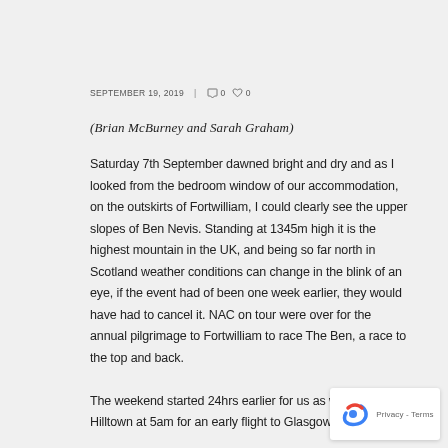SEPTEMBER 19, 2019  |  0  0
(Brian McBurney and Sarah Graham)
Saturday 7th September dawned bright and dry and as I looked from the bedroom window of our accommodation, on the outskirts of Fortwilliam, I could clearly see the upper slopes of Ben Nevis. Standing at 1345m high it is the highest mountain in the UK, and being so far north in Scotland weather conditions can change in the blink of an eye, if the event had of been one week earlier, they would have had to cancel it. NAC on tour were over for the annual pilgrimage to Fortwilliam to race The Ben, a race to the top and back.
The weekend started 24hrs earlier for us as we met in Hilltown at 5am for an early flight to Glasgow.